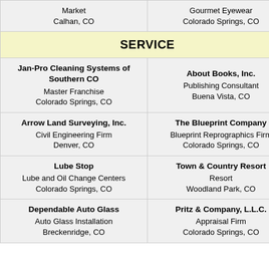| Market
Calhan, CO | Gourmet Eyewear
Colorado Springs, CO |
| SERVICE | SERVICE |
| Jan-Pro Cleaning Systems of Southern CO
Master Franchise
Colorado Springs, CO | About Books, Inc.
Publishing Consultant
Buena Vista, CO |
| Arrow Land Surveying, Inc.
Civil Engineering Firm
Denver, CO | The Blueprint Company
Blueprint Reprographics Firm
Colorado Springs, CO |
| Lube Stop
Lube and Oil Change Centers
Colorado Springs, CO | Town & Country Resort
Resort
Woodland Park, CO |
| Dependable Auto Glass
Auto Glass Installation
Breckenridge, CO | Pritz & Company, L.L.C.
Appraisal Firm
Colorado Springs, CO |